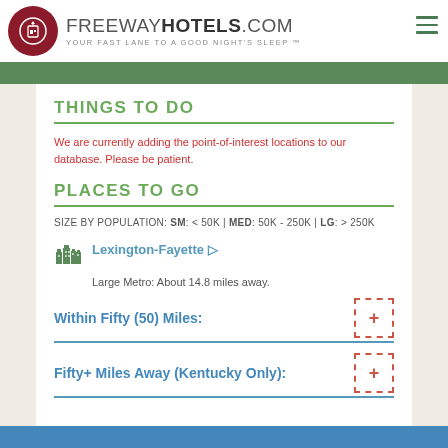FREEWAYHOTELS.COM YOUR FAST LANE TO A GOOD NIGHT'S SLEEP™
THINGS TO DO
We are currently adding the point-of-interest locations to our database. Please be patient.
PLACES TO GO
SIZE BY POPULATION: SM: < 50K | MED: 50K - 250K | LG: > 250K
Lexington-Fayette ▷
Large Metro: About 14.8 miles away.
Within Fifty (50) Miles:
Fifty+ Miles Away (Kentucky Only):